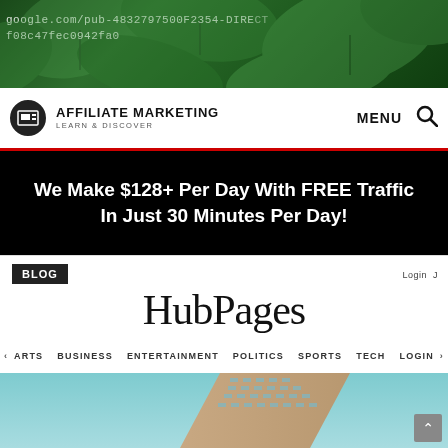[Figure (photo): Green tropical leaves background with overlaid URL text: google.com/pub-4832797500F2354-DIRECT-f08c47fec0942fa0]
AFFILIATE MARKETING LEARN & DISCOVER | MENU
[Figure (screenshot): Black banner with white bold text: We Make $128+ Per Day With FREE Traffic In Just 30 Minutes Per Day!]
[Figure (screenshot): HubPages website screenshot showing logo, BLOG tag, navigation menu (ARTS BUSINESS ENTERTAINMENT POLITICS SPORTS TECH LOGIN), and bottom image of a tall building against blue sky]